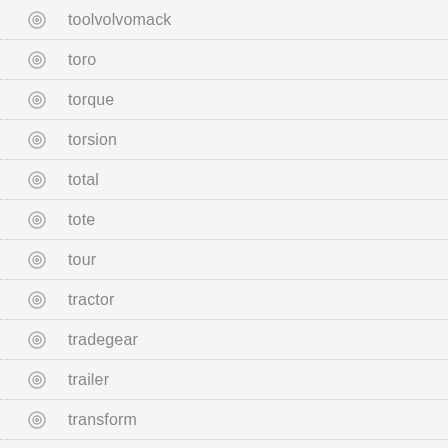toolvolvomack
toro
torque
torsion
total
tote
tour
tractor
tradegear
trailer
transform